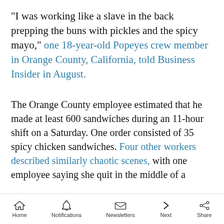"I was working like a slave in the back prepping the buns with pickles and the spicy mayo," one 18-year-old Popeyes crew member in Orange County, California, told Business Insider in August.
The Orange County employee estimated that he made at least 600 sandwiches during an 11-hour shift on a Saturday. One order consisted of 35 spicy chicken sandwiches. Four other workers described similarly chaotic scenes, with one employee saying she quit in the middle of a
Home  Notifications  Newsletters  Next  Share